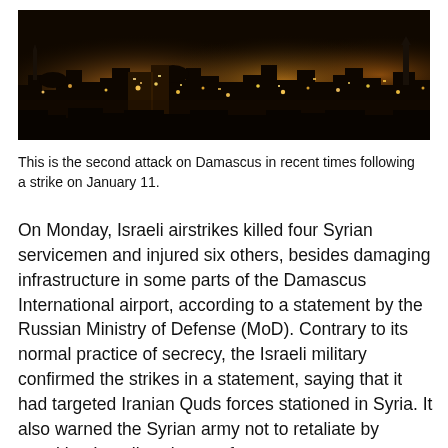[Figure (photo): Nighttime aerial/panoramic photograph of Damascus city skyline with golden and amber city lights illuminating buildings and streets under a dark sky.]
This is the second attack on Damascus in recent times following a strike on January 11.
On Monday, Israeli airstrikes killed four Syrian servicemen and injured six others, besides damaging infrastructure in some parts of the Damascus International airport, according to a statement by the Russian Ministry of Defense (MoD). Contrary to its normal practice of secrecy, the Israeli military confirmed the strikes in a statement, saying that it had targeted Iranian Quds forces stationed in Syria. It also warned the Syrian army not to retaliate by attacking Israeli territory or forces.